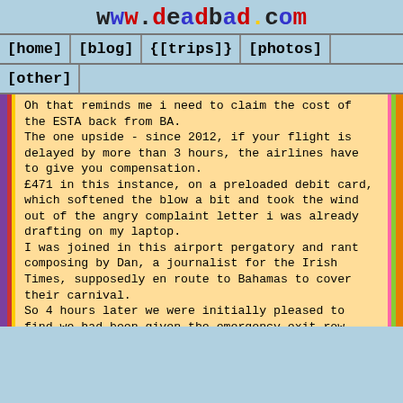www.deadbad.com
[home] [blog] {[trips]} [photos] [other]
Oh that reminds me i need to claim the cost of the ESTA back from BA.
The one upside - since 2012, if your flight is delayed by more than 3 hours, the airlines have to give you compensation.
£471 in this instance, on a preloaded debit card, which softened the blow a bit and took the wind out of the angry complaint letter i was already drafting on my laptop.
I was joined in this airport pergatory and rant composing by Dan, a journalist for the Irish Times, supposedly en route to Bahamas to cover their carnival.
So 4 hours later we were initially pleased to find we had been given the emergency exit row seats with extra leg room - although somewhat less pleased to find that also meant sitting next to families with babies,
whilst just ahead through the curtain were several